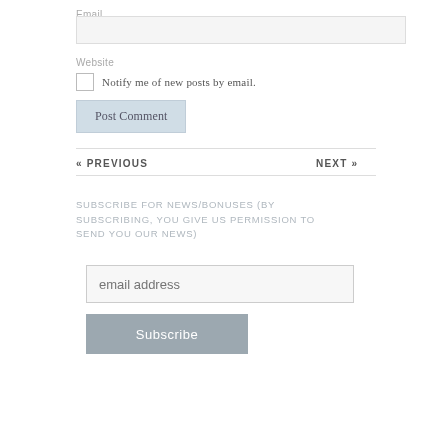Email
[Figure (other): Email input field (empty text box)]
Website
Notify me of new posts by email.
Post Comment
« PREVIOUS
NEXT »
SUBSCRIBE FOR NEWS/BONUSES (BY SUBSCRIBING, YOU GIVE US PERMISSION TO SEND YOU OUR NEWS)
[Figure (other): Email address input field with placeholder text 'email address']
Subscribe